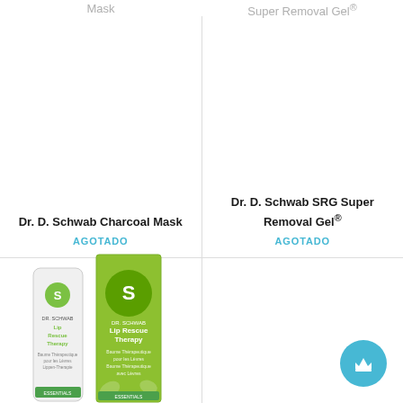Mask
Super Removal Gel®
Dr. D. Schwab Charcoal Mask
AGOTADO
Dr. D. Schwab SRG Super Removal Gel®
AGOTADO
[Figure (photo): Dr. D. Schwab Lip Rescue Therapy product — a white tube and green box shown side by side]
[Figure (other): Light blue circular chat/support button with crown icon]